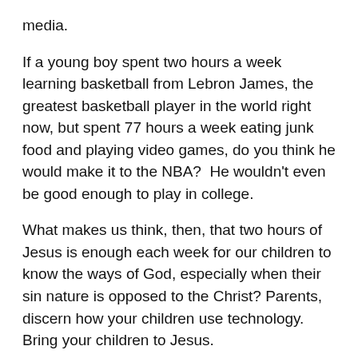media.
If a young boy spent two hours a week learning basketball from Lebron James, the greatest basketball player in the world right now, but spent 77 hours a week eating junk food and playing video games, do you think he would make it to the NBA?  He wouldn't even be good enough to play in college.
What makes us think, then, that two hours of Jesus is enough each week for our children to know the ways of God, especially when their sin nature is opposed to the Christ? Parents, discern how your children use technology. Bring your children to Jesus.
4. A Plea for Education that sees Jesus as Lord of all of life
Parents, find ways to educate your children that sees Jesus as Lord of all of life.  In America, you have essentially three